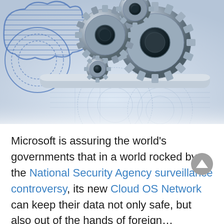[Figure (illustration): 3D illustration of metallic mechanical gears arranged in a cloud-like shape, overlaid on technical blueprint drawings with blue circular patterns. The gears are silver/steel colored and the background shows light blue engineering schematic drawings.]
Microsoft is assuring the world's governments that in a world rocked by the National Security Agency surveillance controversy, its new Cloud OS Network can keep their data not only safe, but also out of the hands of foreign...